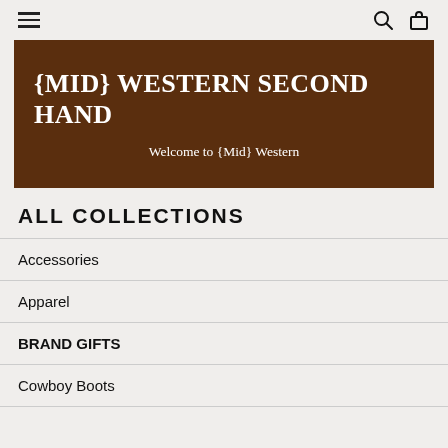Navigation bar with hamburger menu, search, and cart icons
{MID} WESTERN SECOND HAND
Welcome to {Mid} Western
ALL COLLECTIONS
Accessories
Apparel
BRAND GIFTS
Cowboy Boots